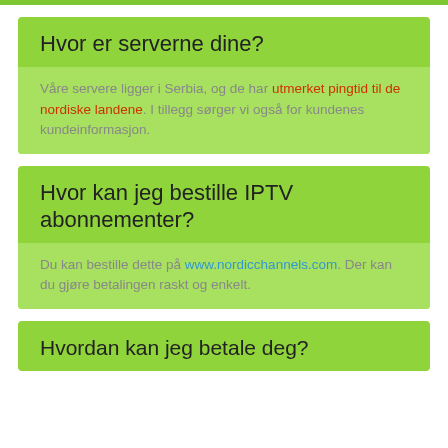Hvor er serverne dine?
Våre servere ligger i Serbia, og de har utmerket pingtid til de nordiske landene. I tillegg sørger vi også for kundenes kundeinformasjon.
Hvor kan jeg bestille IPTV abonnementer?
Du kan bestille dette på www.nordicchannels.com. Der kan du gjøre betalingen raskt og enkelt.
Hvordan kan jeg betale deg?